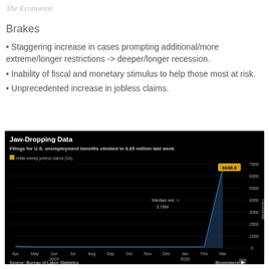The Economist
Brakes
Staggering increase in cases prompting additional/more extreme/longer restrictions -> deeper/longer recession.
Inability of fiscal and monetary stimulus to help those most at risk.
Unprecedented increase in jobless claims.
[Figure (line-chart): Bloomberg chart showing initial weekly jobless claims (SA) from Apr 2019 to Mar 2020, with a dramatic spike to 6648k in March 2020. Median est. = 3.78M annotated.]